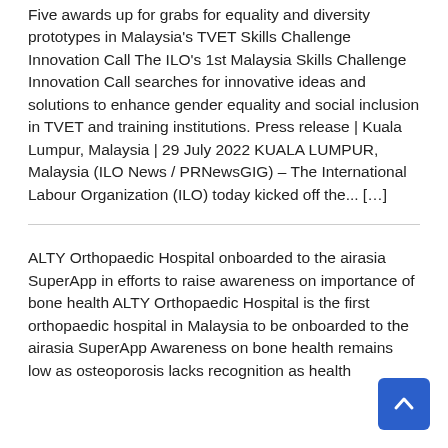Five awards up for grabs for equality and diversity prototypes in Malaysia's TVET Skills Challenge Innovation Call The ILO's 1st Malaysia Skills Challenge Innovation Call searches for innovative ideas and solutions to enhance gender equality and social inclusion in TVET and training institutions. Press release | Kuala Lumpur, Malaysia | 29 July 2022 KUALA LUMPUR, Malaysia (ILO News / PRNewsGIG) – The International Labour Organization (ILO) today kicked off the... [...]
ALTY Orthopaedic Hospital onboarded to the airasia SuperApp in efforts to raise awareness on importance of bone health ALTY Orthopaedic Hospital is the first orthopaedic hospital in Malaysia to be onboarded to the airasia SuperApp Awareness on bone health remains low as osteoporosis lacks recognition as health...